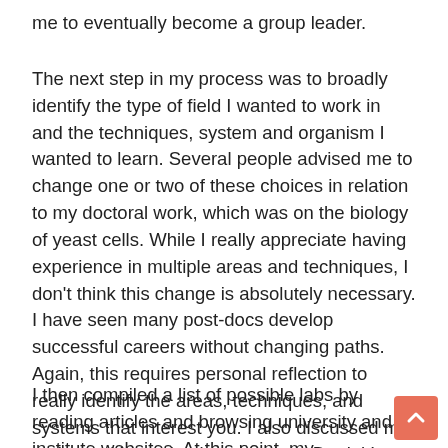me to eventually become a group leader.
The next step in my process was to broadly identify the type of field I wanted to work in and the techniques, system and organism I wanted to learn. Several people advised me to change one or two of these choices in relation to my doctoral work, which was on the biology of yeast cells. While I really appreciate having experience in multiple areas and techniques, I don't think this change is absolutely necessary. I have seen many post-docs develop successful careers without changing paths. Again, this requires personal reflection to really identify the areas, techniques, and systems that interest you. I also discussed my options with my thesis supervisor, Daniel Lew, and my lab colleagues. I read a lot of articles to get an idea of the different areas. In the end, I decided to continue working with yeast but to adopt a more biochemical approach.
I then compiled a list of possible labs by reading articles and browsing university and institute websites. At this point, my